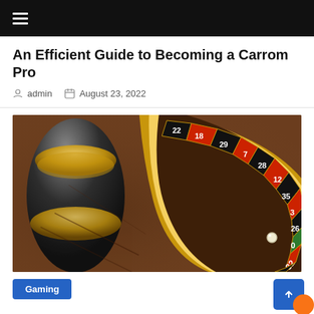☰
An Efficient Guide to Becoming a Carrom Pro
admin   August 23, 2022
[Figure (photo): Close-up photograph of a roulette wheel showing numbered slots including 22, 18, 29, 7, 28, 12, 35, 3, 26, 0, 32, 15 with red, black, and green colored segments. A roulette ball is visible on the wheel. The wheel center and wooden table are visible.]
Gaming